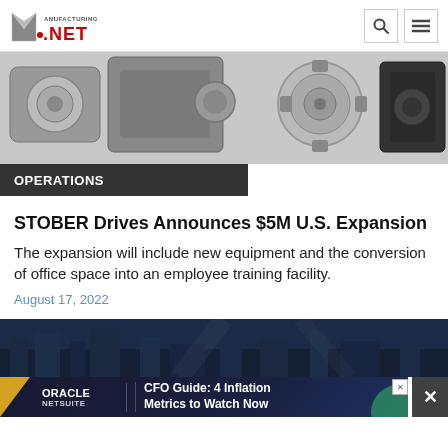Manufacturing.net
[Figure (photo): Industrial drive/motor components — gearboxes and servo motors in black and grey, photographed on white background]
OPERATIONS
STOBER Drives Announces $5M U.S. Expansion
The expansion will include new equipment and the conversion of office space into an employee training facility.
August 17, 2022
[Figure (photo): Dark blue industrial/cityscape background image, partially visible]
[Figure (other): Oracle NetSuite advertisement banner: CFO Guide: 4 Inflation Metrics to Watch Now]